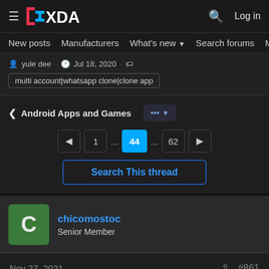XDA Forums — Navigation bar with hamburger menu, XDA logo, search icon, Log in
New posts  Manufacturers  What's new  Search forums  Membe  >
yule dee · Jul 18, 2020
multi account|whatsapp clone|clone app
< Android Apps and Games  ... ▾
◄  1  ...  44  ...  62  ►
Search This thread
chicomostoc
Senior Member
Nov 27, 2021  #861